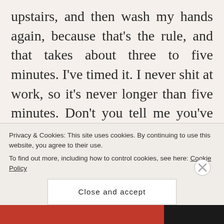upstairs, and then wash my hands again, because that's the rule, and that takes about three to five minutes. I've timed it. I never shit at work, so it's never longer than five minutes. Don't you tell me you've waited fifteen minutes, Ms. Self-Important Douchebag. I know exactly how long you waited. This happens all the damn time. The second they get to the counter, realize no one is there, they have waited fifteen minutes. That seems to be the rule, multiply every second by at least
Privacy & Cookies: This site uses cookies. By continuing to use this website, you agree to their use.
To find out more, including how to control cookies, see here: Cookie Policy
Close and accept